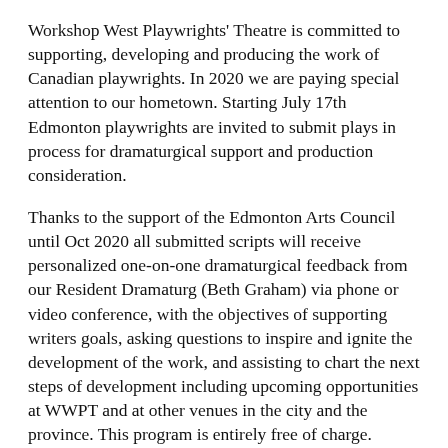Workshop West Playwrights' Theatre is committed to supporting, developing and producing the work of Canadian playwrights. In 2020 we are paying special attention to our hometown. Starting July 17th Edmonton playwrights are invited to submit plays in process for dramaturgical support and production consideration.
Thanks to the support of the Edmonton Arts Council until Oct 2020 all submitted scripts will receive personalized one-on-one dramaturgical feedback from our Resident Dramaturg (Beth Graham) via phone or video conference, with the objectives of supporting writers goals, asking questions to inspire and ignite the development of the work, and assisting to chart the next steps of development including upcoming opportunities at WWPT and at other venues in the city and the province. This program is entirely free of charge.
Click here for more info and to submit your script: